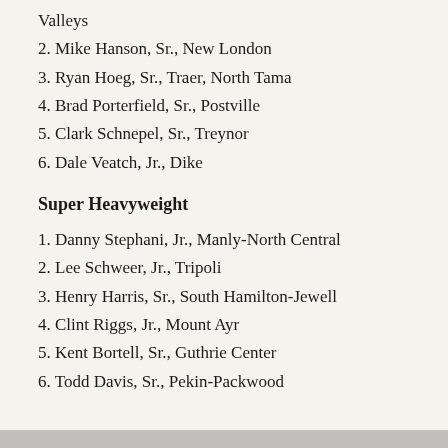Valleys
2. Mike Hanson, Sr., New London
3. Ryan Hoeg, Sr., Traer, North Tama
4. Brad Porterfield, Sr., Postville
5. Clark Schnepel, Sr., Treynor
6. Dale Veatch, Jr., Dike
Super Heavyweight
1. Danny Stephani, Jr., Manly-North Central
2. Lee Schweer, Jr., Tripoli
3. Henry Harris, Sr., South Hamilton-Jewell
4. Clint Riggs, Jr., Mount Ayr
5. Kent Bortell, Sr., Guthrie Center
6. Todd Davis, Sr., Pekin-Packwood